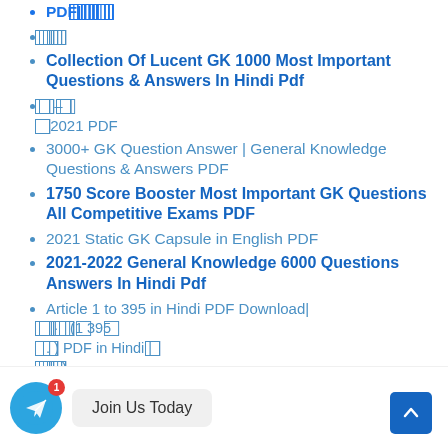PDF|?????? ?? ???? ?????? ?? ?????? ?????? ??????
????? ????????? ????? ???? ????????
Collection Of Lucent GK 1000 Most Important Questions & Answers In Hindi Pdf
?????? ???? – ???????????????? ?? ??????? 2021 PDF
3000+ GK Question Answer | General Knowledge Questions & Answers PDF
1750 Score Booster Most Important GK Questions All Competitive Exams PDF
2021 Static GK Capsule in English PDF
2021-2022 General Knowledge 6000 Questions Answers In Hindi Pdf
Article 1 to 395 in Hindi PDF Download| ???? ??????? · ??? ?? ???????(1 ??395 ?? ??? ???????? PDF in Hindi | ?????? ??????? ?????? ?? ???? ???????)